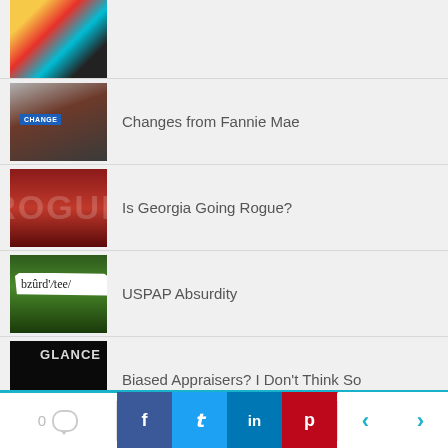[Figure (photo): Colorful photo thumbnail, partially cropped at top]
[Figure (photo): Street scene with CHANGE sign, crowd blurred background]
Changes from Fannie Mae
[Figure (photo): Red ROGUE text on dark background]
Is Georgia Going Rogue?
[Figure (photo): Paper sign with absurdity phonetic spelling in outdoor scene]
USPAP Absurdity
[Figure (photo): Dark image with GLANCE text]
Biased Appraisers? I Don't Think So